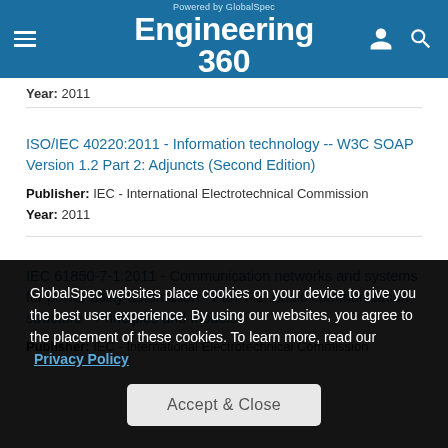Powered by GlobalSpec Engineering 360
Year: 2011
ISO/IEC 40220:2011 - Information technology -- W3C SOAP Version 1.2 Part 2: Adjuncts (Second Edition)
Publisher: IEC - International Electrotechnical Commission
Year: 2011
IEC 61850-7-1:2011 - Communication networks and systems for power utility automation - Part 7-1: Basic communication structure - Principles and models
Publisher: IEC - International Electrotechnical Commission
GlobalSpec websites place cookies on your device to give you the best user experience. By using our websites, you agree to the placement of these cookies. To learn more, read our Privacy Policy
Accept & Close